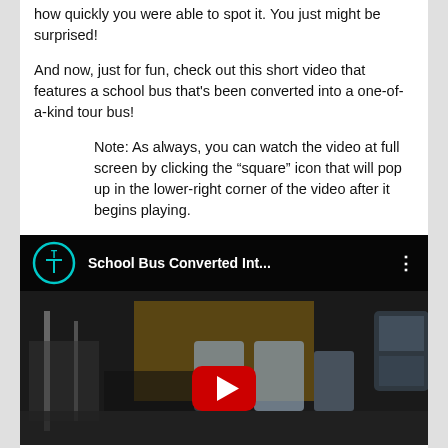how quickly you were able to spot it. You just might be surprised!
And now, just for fun, check out this short video that features a school bus that's been converted into a one-of-a-kind tour bus!
Note: As always, you can watch the video at full screen by clicking the “square” icon that will pop up in the lower-right corner of the video after it begins playing.
[Figure (screenshot): YouTube video embed showing 'School Bus Converted Int...' with a TV logo, dark overlay header, and interior bus image with red YouTube play button]